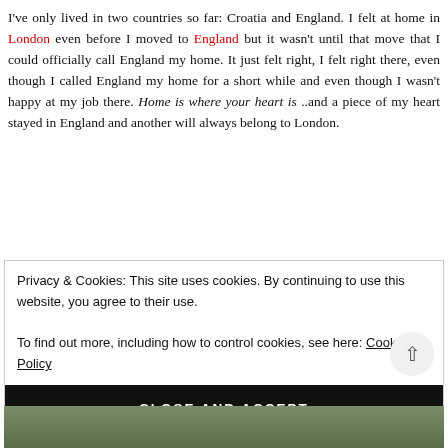I've only lived in two countries so far: Croatia and England. I felt at home in London even before I moved to England but it wasn't until that move that I could officially call England my home. It just felt right, I felt right there, even though I called England my home for a short while and even though I wasn't happy at my job there. Home is where your heart is ..and a piece of my heart stayed in England and another will always belong to London.
Privacy & Cookies: This site uses cookies. By continuing to use this website, you agree to their use.
To find out more, including how to control cookies, see here: Cookie Policy
CLOSE AND ACCEPT